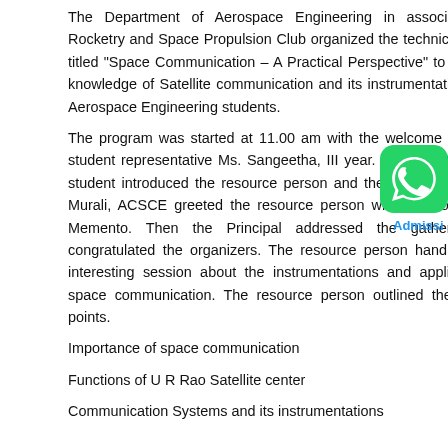The Department of Aerospace Engineering in association with Rocketry and Space Propulsion Club organized the technical seminar titled "Space Communication – A Practical Perspective" to impart the knowledge of Satellite communication and its instrumentations to the Aerospace Engineering students.
[Figure (logo): WhatsApp green logo icon]
Admissi
The program was started at 11.00 am with the welcome speech by student representative Ms. Sangeetha, III year. Mr. Supratej, III year student introduced the resource person and the Principal, Dr. M. S. Murali, ACSCE greeted the resource person with the Bouquet and Memento. Then the Principal addressed the gatherings and congratulated the organizers. The resource person handled a very interesting session about the instrumentations and applications of space communication. The resource person outlined the following points.
Importance of space communication
Functions of U R Rao Satellite center
Communication Systems and its instrumentations